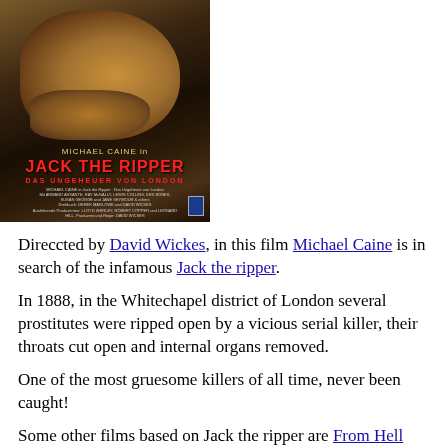[Figure (photo): Movie poster for 'Jack the Ripper' featuring Michael Caine. Dark atmospheric poster showing a shadowed figure's face. Text reads 'MICHAEL CAINE in JACK THE RIPPER DAS UNGEHEUER VON LONDON']
Direccted by David Wickes, in this film Michael Caine is in search of the infamous Jack the ripper.
In 1888, in the Whitechapel district of London several prostitutes were ripped open by a vicious serial killer, their throats cut open and internal organs removed.
One of the most gruesome killers of all time, never been caught!
Some other films based on Jack the ripper are From Hell (2001) starring Johnny Depp, The Lodger (1927), Murder by...